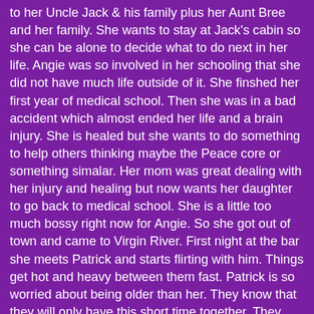to her Uncle Jack & his family plus her Aunt Bree and her family. She wants to stay at Jack's cabin so she can be alone to decide what to do next in her life. Angie was so involved in her schooling that she did not have much life outside of it. She finshed her first year of medical school. Then she was in a bad accident which almost ended her life and a brain injury. She is healed but she wants to do something to help others thinking maybe the Peace core or something simalar. Her mom was great dealing with her injury and healing but now wants her daughter to go back to medical school. She is a little too much bossy right now for Angie. So she got out of town and came to Virgin River. First night at the bar she meets Patrick and starts flirting with him. Things get hot and heavy between them fast. Patrick is so worried about being older than her. They know that they will only have this short time together. They decide to try and keep thier relationship private but right away people are guessing. Thier families keep getting involved starts with the ones in Virgin River but don't end their. Get to see and hear about old familar families how they are doing. I love how close those that live in Virgin River are. They still have thier Christmas traditions and helping those in need, Angie gets involved in the clinic with Mel. She gets to a little girl who got injured and it was a complex